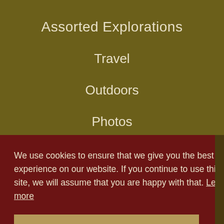Assorted Explorations
Travel
Outdoors
Photos
Surroundings
Utilities
We use cookies to ensure that we give you the best experience on our website. If you continue to use this site, we will assume that you are happy with that. Learn more
Accept and Close